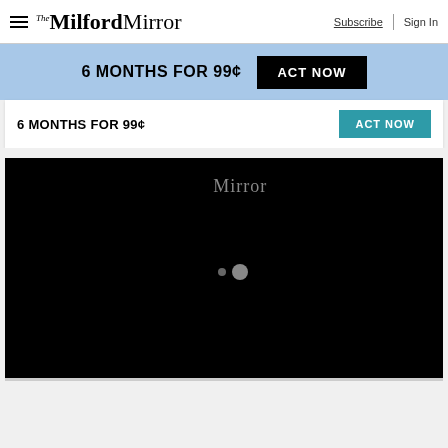The Milford Mirror | Subscribe | Sign In
[Figure (screenshot): Blue promotional banner with text '6 MONTHS FOR 99¢' and black 'ACT NOW' button]
6 MONTHS FOR 99¢
[Figure (screenshot): Video player showing black screen with 'Mirror' logo text and loading dots]